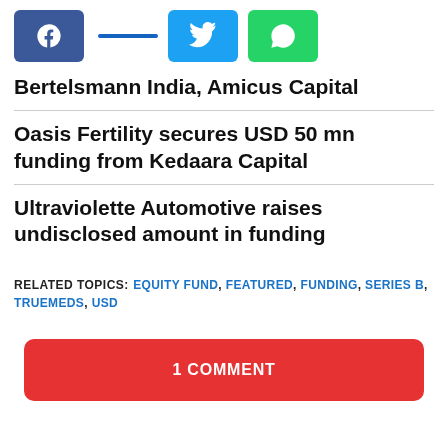[Figure (other): Social sharing buttons: Facebook (blue), share line (dark blue), Twitter (light blue), WhatsApp (green)]
Bertelsmann India, Amicus Capital
Oasis Fertility secures USD 50 mn funding from Kedaara Capital
Ultraviolette Automotive raises undisclosed amount in funding
RELATED TOPICS: EQUITY FUND, FEATURED, FUNDING, SERIES B, TRUEMEDS, USD
1 COMMENT